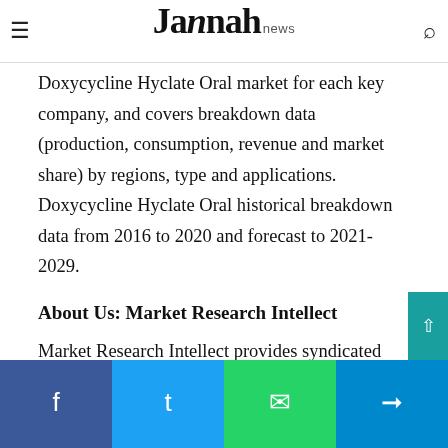Jannah news
Doxycycline Hyclate Oral market for each key company, and covers breakdown data (production, consumption, revenue and market share) by regions, type and applications. Doxycycline Hyclate Oral historical breakdown data from 2016 to 2020 and forecast to 2021-2029.
About Us: Market Research Intellect
Market Research Intellect provides syndicated and customized research reports to clients from various industries and organizations in addition to the objective of delivering customized and in-depth research studies.
We speak to looking logical research solutions, custom